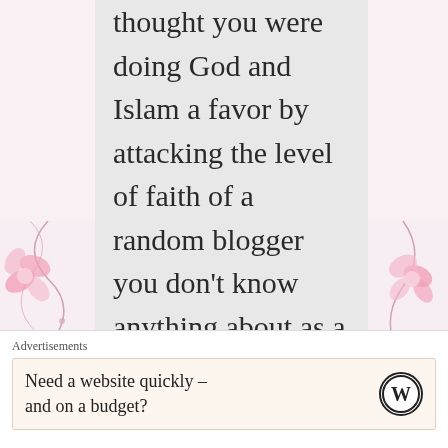thought you were doing God and Islam a favor by attacking the level of faith of a random blogger you don't know anything about as a human. 2) I write about many things that are and are not relevant to me, so your question is
[Figure (illustration): Decorative floral border on left side with pink flowers and swirling vines on light pink background]
[Figure (illustration): Decorative floral border on right side with pink flowers and swirling vines on light pink background]
Advertisements
Need a website quickly – and on a budget?